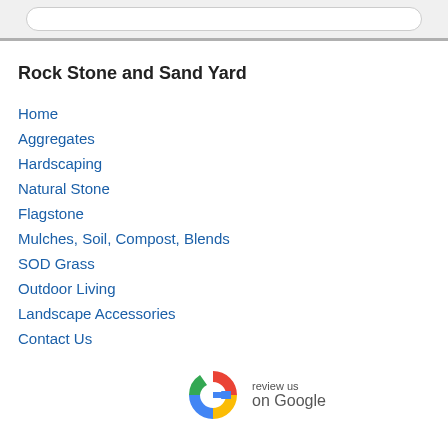Rock Stone and Sand Yard
Home
Aggregates
Hardscaping
Natural Stone
Flagstone
Mulches, Soil, Compost, Blends
SOD Grass
Outdoor Living
Landscape Accessories
Contact Us
[Figure (logo): Google 'review us on Google' badge with the colorful Google G logo on the left and text 'review us on Google' on the right]